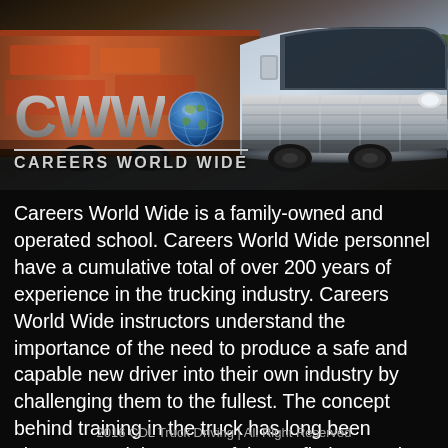[Figure (photo): Large semi truck (Careers World Wide branded) photographed outdoors with chrome front grille prominently visible, with the CWW logo and 'CAREERS WORLD WIDE' text overlaid at the bottom of the image.]
Careers World Wide is a family-owned and operated school. Careers World Wide personnel have a cumulative total of over 200 years of experience in the trucking industry. Careers World Wide instructors understand the importance of the need to produce a safe and capable new driver into their own industry by challenging them to the fullest. The concept behind training in the truck has long been circumvented, because of the profit that can be made through classroom time, no truck usage, no fuel
2016 CDL Truck Driving | All Right Reserved